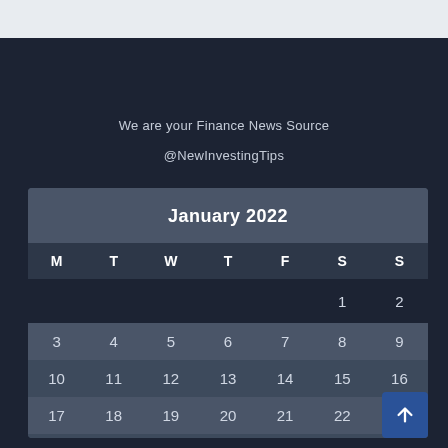We are your Finance News Source
@NewInvestingTips
| M | T | W | T | F | S | S |
| --- | --- | --- | --- | --- | --- | --- |
|  |  |  |  |  | 1 | 2 |
| 3 | 4 | 5 | 6 | 7 | 8 | 9 |
| 10 | 11 | 12 | 13 | 14 | 15 | 16 |
| 17 | 18 | 19 | 20 | 21 | 22 | 23 |
| 24 | 25 | 26 | 27 | 28 | 29 | 30 |
| 31 |  |  |  |  |  |  |